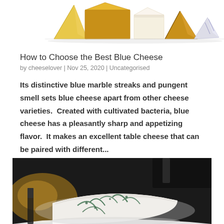[Figure (photo): Various cheese wedges and blocks arranged in a row, viewed from above/side angle, including yellow, white, and blue-veined varieties]
How to Choose the Best Blue Cheese
by cheeselover | Nov 25, 2020 | Uncategorised
Its distinctive blue marble streaks and pungent smell sets blue cheese apart from other cheese varieties.  Created with cultivated bacteria, blue cheese has a pleasantly sharp and appetizing flavor.  It makes an excellent table cheese that can be paired with different...
[Figure (photo): Close-up photo of a wedge of blue cheese with visible blue-green mold veins on a white background, with a knife visible in the background]